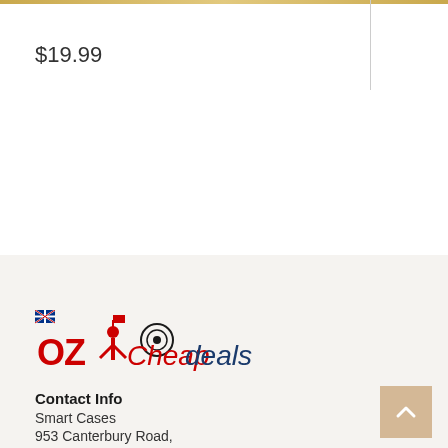$19.99
[Figure (logo): OzCheapDeals logo in red text with Australian flag icon and a target/shopping cart icon]
Contact Info
Smart Cases
953 Canterbury Road,